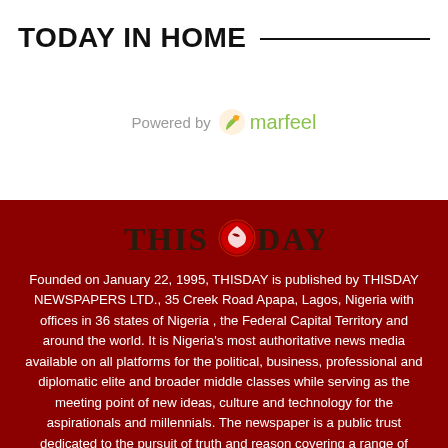TODAY IN HOME
[Figure (logo): Marfeel logo with leaf icon and text 'Powered by marfeel']
[Figure (logo): ThisDay newspaper logo with eagle emblem]
Founded on January 22, 1995, THISDAY is published by THISDAY NEWSPAPERS LTD., 35 Creek Road Apapa, Lagos, Nigeria with offices in 36 states of Nigeria , the Federal Capital Territory and around the world. It is Nigeria's most authoritative news media available on all platforms for the political, business, professional and diplomatic elite and broader middle classes while serving as the meeting point of new ideas, culture and technology for the aspirationals and millennials. The newspaper is a public trust dedicated to the pursuit of truth and reason covering a range of issues from breaking news to politics, business, the markets, the arts, sports and community to the crossroads of people and society.